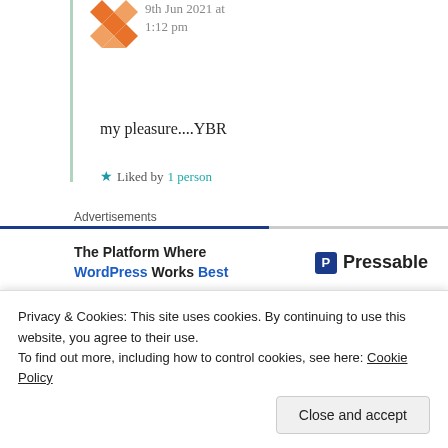9th Jun 2021 at 1:12 pm
my pleasure....YBR
★ Liked by 1 person
Advertisements
[Figure (infographic): Advertisement for Pressable WordPress hosting: 'The Platform Where WordPress Works Best' with Pressable logo]
REPORT THIS AD
Privacy & Cookies: This site uses cookies. By continuing to use this website, you agree to their use.
To find out more, including how to control cookies, see here: Cookie Policy
Close and accept